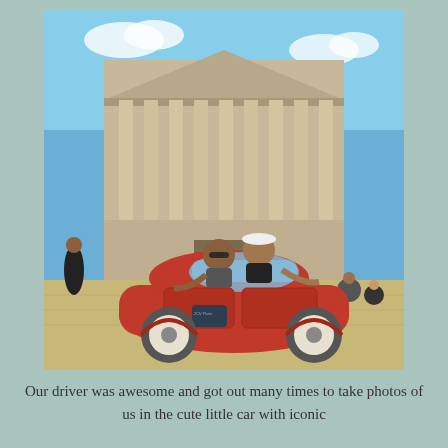[Figure (photo): Two people posing from the open roof of a classic red Citroën 2CV car parked in front of the Panthéon in Paris on a sunny day. Several other visitors are visible in the square. The building features large classical columns and a neoclassical facade.]
Our driver was awesome and got out many times to take photos of us in the cute little car with iconic